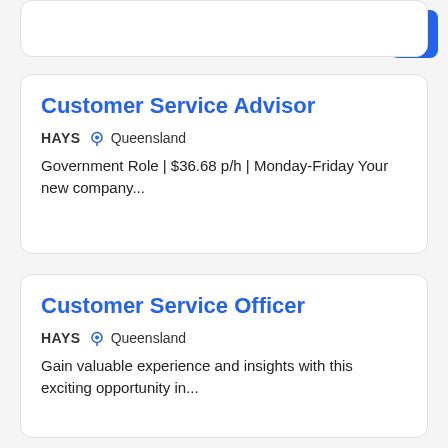[Figure (other): Blue hamburger menu button in top right corner]
Customer Service Advisor
HAYS  Queensland
Government Role | $36.68 p/h | Monday-Friday Your new company...
Customer Service Officer
HAYS  Queensland
Gain valuable experience and insights with this exciting opportunity in...